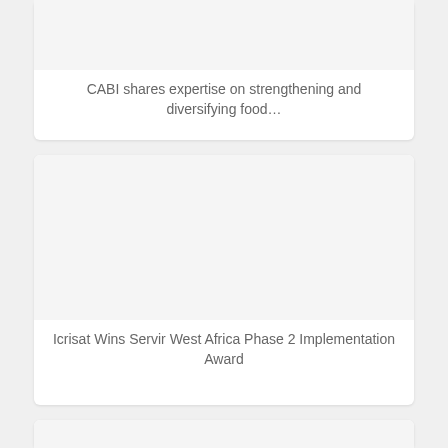[Figure (other): Card image area for CABI article (partially visible at top)]
CABI shares expertise on strengthening and diversifying food…
[Figure (other): Card image area for Icrisat article]
Icrisat Wins Servir West Africa Phase 2 Implementation Award
[Figure (other): Card image area for third article (partially visible at bottom)]